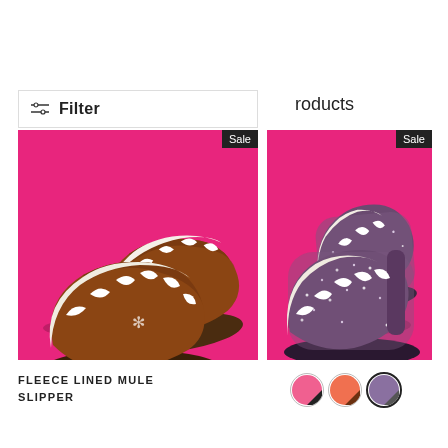Filter   roducts
[Figure (photo): Brown suede mule slipper with white fleece lining on pink background, Sale badge in top right corner]
[Figure (photo): Glitter dark purple mule slipper with white fleece lining on pink background, Sale badge in top right corner]
FLEECE LINED MULE SLIPPER
[Figure (other): Three color swatches: pink with black, coral with brown, glitter purple with grey (selected/outlined)]